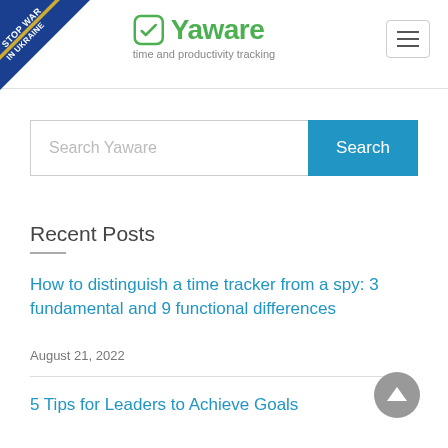[Figure (logo): Stop War In Ukraine banner in top-left corner with blue and yellow colors]
[Figure (logo): Yaware logo with green checkmark icon and tagline 'time and productivity tracking']
[Figure (other): Hamburger menu icon (three horizontal lines) in top-right corner]
Search Yaware
Recent Posts
How to distinguish a time tracker from a spy: 3 fundamental and 9 functional differences
August 21, 2022
5 Tips for Leaders to Achieve Goals